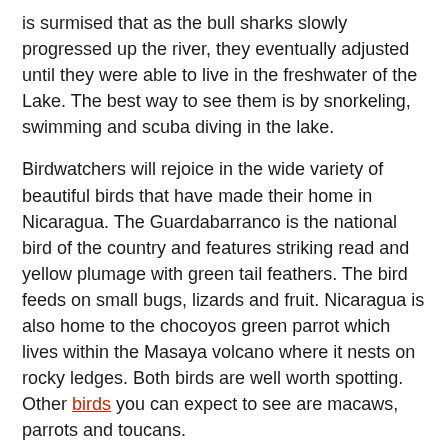is surmised that as the bull sharks slowly progressed up the river, they eventually adjusted until they were able to live in the freshwater of the Lake. The best way to see them is by snorkeling, swimming and scuba diving in the lake.
Birdwatchers will rejoice in the wide variety of beautiful birds that have made their home in Nicaragua. The Guardabarranco is the national bird of the country and features striking read and yellow plumage with green tail feathers. The bird feeds on small bugs, lizards and fruit. Nicaragua is also home to the chocoyos green parrot which lives within the Masaya volcano where it nests on rocky ledges. Both birds are well worth spotting. Other birds you can expect to see are macaws, parrots and toucans.
A stealthy hunter and creature of immense beauty, the jaguar is the largest wild cat to be found in Nicaragua. However, it is not the only kind. Nicaragua has several wild cat species, including the puma, the cougar, the jaguarondi, the margay and the ocelot. If you love cats, make sure you do your best to spot all these lovely felines.